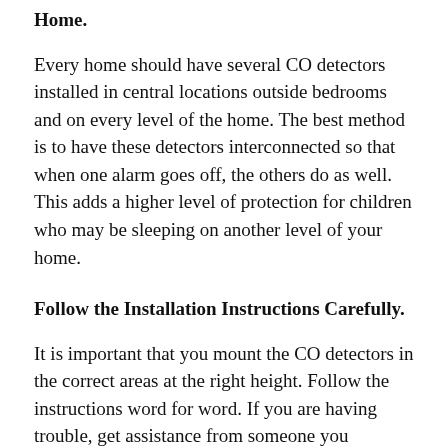Home.
Every home should have several CO detectors installed in central locations outside bedrooms and on every level of the home. The best method is to have these detectors interconnected so that when one alarm goes off, the others do as well. This adds a higher level of protection for children who may be sleeping on another level of your home.
Follow the Installation Instructions Carefully.
It is important that you mount the CO detectors in the correct areas at the right height. Follow the instructions word for word. If you are having trouble, get assistance from someone you